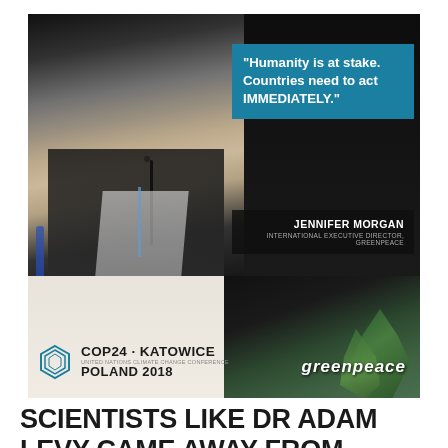[Figure (photo): Photo of Jennifer Morgan speaking at COP24 Katowice conference with a quote overlay box reading 'Humanity is at stake. Countries need to act IMMEDIATELY.' attributed to Jennifer Morgan, International Executive Director, Greenpeace. The COP24 Katowice Poland 2018 logo appears in the lower left, and the Greenpeace logo/wordmark appears in the lower right over green plants.]
SCIENTISTS LIKE DR ADAM LEVY CAME AWAY FROM